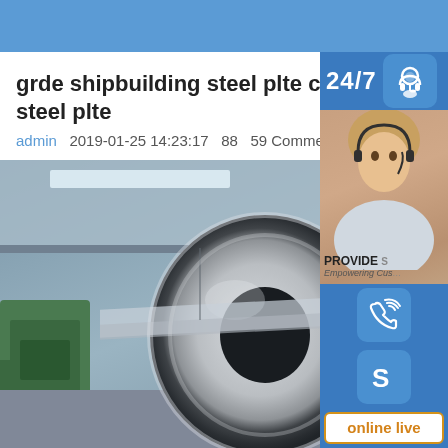grde shipbuilding steel plte ccsshipbuilding steel plte
admin   2019-01-25 14:23:17   88   59 Comment
[Figure (photo): Steel coils/rolls in an industrial factory setting, showing large cylindrical rolled steel sheets on a production floor with green machinery visible in the background]
[Figure (infographic): Sidebar widgets showing 24/7 service icon with headset, phone/call icon, Skype icon, customer support photo, PROVIDE Empowering Customers text, and online live button]